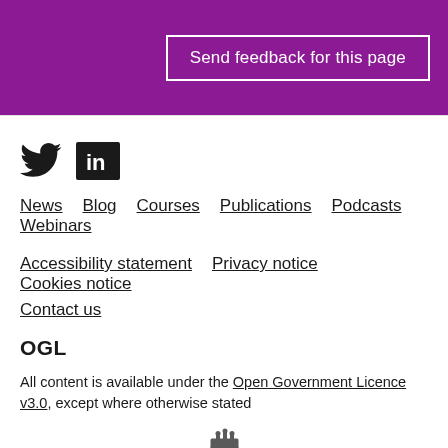[Figure (other): Purple banner with 'Send feedback for this page' button outlined in white]
[Figure (logo): Twitter bird icon (black) and LinkedIn icon (white on black square)]
News   Blog   Courses   Publications   Podcasts   Webinars
Accessibility statement   Privacy notice   Cookies notice
Contact us
OGL
All content is available under the Open Government Licence v3.0, except where otherwise stated
[Figure (logo): UK Government Royal Coat of Arms crest in grey]